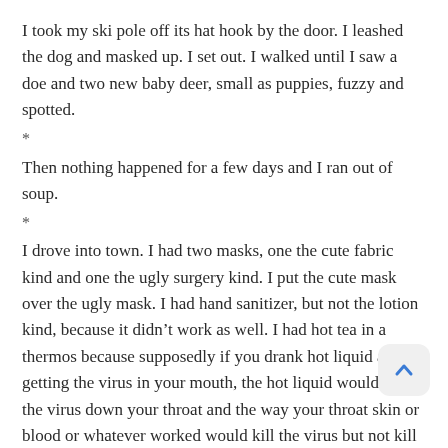I took my ski pole off its hat hook by the door. I leashed the dog and masked up. I set out. I walked until I saw a doe and two new baby deer, small as puppies, fuzzy and spotted.
*
Then nothing happened for a few days and I ran out of soup.
*
I drove into town. I had two masks, one the cute fabric kind and one the ugly surgery kind. I put the cute mask over the ugly mask. I had hand sanitizer, but not the lotion kind, because it didn't work as well. I had hot tea in a thermos because supposedly if you drank hot liquid after getting the virus in your mouth, the hot liquid would wash the virus down your throat and the way your throat skin or blood or whatever worked would kill the virus but not kill you. Also I liked tea.
The parking lot felt strange, like going home after moving away for—